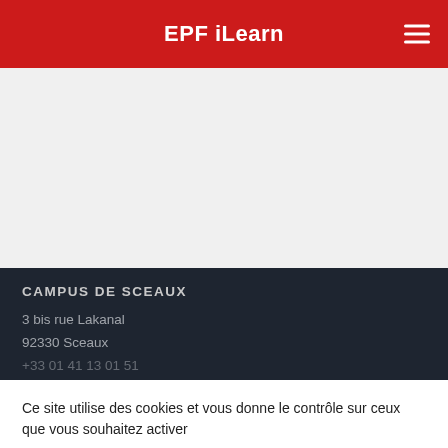EPF iLearn
[Figure (screenshot): Gray placeholder content area]
CAMPUS DE SCEAUX
3 bis rue Lakanal
92330 Sceaux
+33 01 41 13 01 51
Ce site utilise des cookies et vous donne le contrôle sur ceux que vous souhaitez activer
Personnaliser
Tout accepter